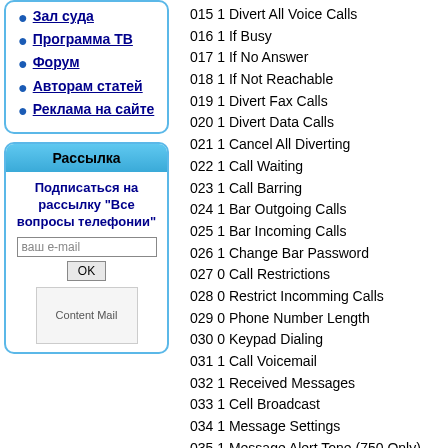Зал суда
Программа ТВ
Форум
Авторам статей
Реклама на сайте
Рассылка
Подписаться на рассылку "Все вопросы телефонии"
015 1 Divert All Voice Calls
016 1 If Busy
017 1 If No Answer
018 1 If Not Reachable
019 1 Divert Fax Calls
020 1 Divert Data Calls
021 1 Cancel All Diverting
022 1 Call Waiting
023 1 Call Barring
024 1 Bar Outgoing Calls
025 1 Bar Incoming Calls
026 1 Change Bar Password
027 0 Call Restrictions
028 0 Restrict Incomming Calls
029 0 Phone Number Length
030 0 Keypad Dialing
031 1 Call Voicemail
032 1 Received Messages
033 1 Cell Broadcast
034 1 Message Settings
035 1 Message Alert Tone (750 Only)
036 1 Voicemail Number
037 1 Incoming Call Alert (750 Only)